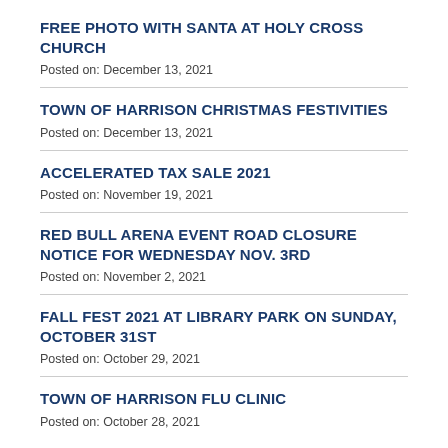FREE PHOTO WITH SANTA AT HOLY CROSS CHURCH
Posted on: December 13, 2021
TOWN OF HARRISON CHRISTMAS FESTIVITIES
Posted on: December 13, 2021
ACCELERATED TAX SALE 2021
Posted on: November 19, 2021
RED BULL ARENA EVENT ROAD CLOSURE NOTICE FOR WEDNESDAY NOV. 3RD
Posted on: November 2, 2021
FALL FEST 2021 AT LIBRARY PARK ON SUNDAY, OCTOBER 31ST
Posted on: October 29, 2021
TOWN OF HARRISON FLU CLINIC
Posted on: October 28, 2021